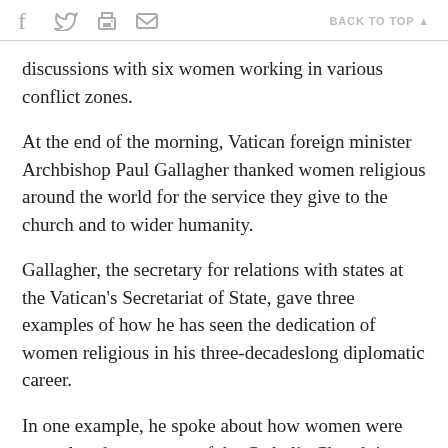f  [twitter]  [print]  [email]   BACK TO TOP ▲
discussions with six women working in various conflict zones.
At the end of the morning, Vatican foreign minister Archbishop Paul Gallagher thanked women religious around the world for the service they give to the church and to wider humanity.
Gallagher, the secretary for relations with states at the Vatican's Secretariat of State, gave three examples of how he has seen the dedication of women religious in his three-decadeslong diplomatic career.
In one example, he spoke about how women were central to the structure of the Catholic Church in